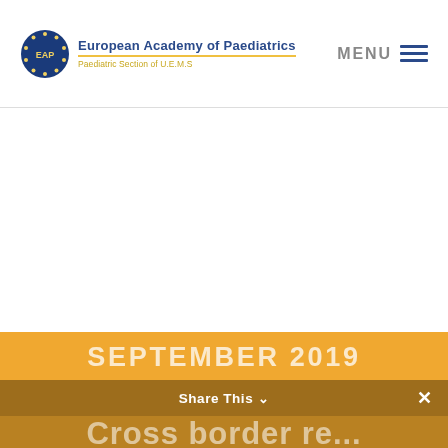European Academy of Paediatrics — Paediatric Section of U.E.M.S — MENU
[Figure (screenshot): Screenshot of European Academy of Paediatrics website header with logo, navigation menu, white content area, orange banner showing SEPTEMBER 2019 and partially visible Cross border text, with Share This overlay bar]
SEPTEMBER 2019
Share This
Cross border re...